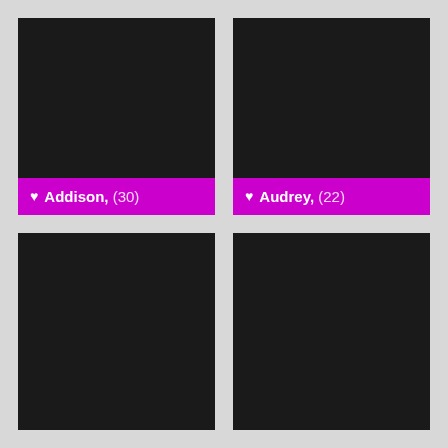[Figure (photo): Dark photo card for Addison, age 30, with magenta label bar showing heart icon and name]
[Figure (photo): Dark photo card for Audrey, age 22, with magenta label bar showing heart icon and name]
[Figure (photo): Dark photo card (bottom left), partially visible, no label shown]
[Figure (photo): Dark photo card (bottom right), partially visible, no label shown]